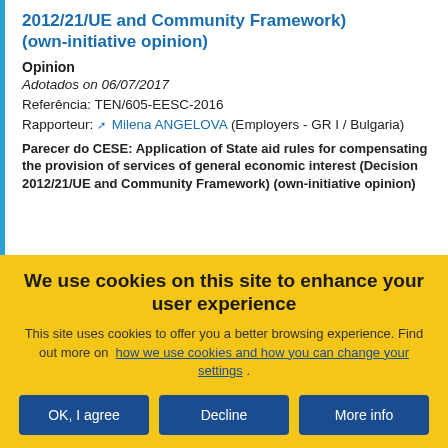2012/21/UE and Community Framework) (own-initiative opinion)
Opinion
Adotados on 06/07/2017
Referência: TEN/605-EESC-2016
Rapporteur: Milena ANGELOVA (Employers - GR I / Bulgaria)
Parecer do CESE: Application of State aid rules for compensating the provision of services of general economic interest (Decision 2012/21/UE and Community Framework) (own-initiative opinion)
We use cookies on this site to enhance your user experience
This site uses cookies to offer you a better browsing experience. Find out more on how we use cookies and how you can change your settings .